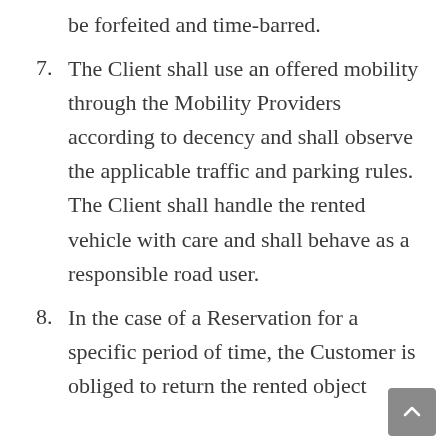be forfeited and time-barred.
7. The Client shall use an offered mobility through the Mobility Providers according to decency and shall observe the applicable traffic and parking rules. The Client shall handle the rented vehicle with care and shall behave as a responsible road user.
8. In the case of a Reservation for a specific period of time, the Customer is obliged to return the rented object